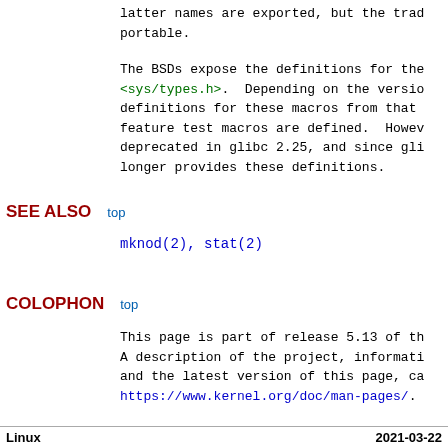latter names are exported, but the trad portable.
The BSDs expose the definitions for the <sys/types.h>. Depending on the versio definitions for these macros from that feature test macros are defined. Howev deprecated in glibc 2.25, and since gli longer provides these definitions.
SEE ALSO
mknod(2), stat(2)
COLOPHON
This page is part of release 5.13 of th A description of the project, informati and the latest version of this page, ca https://www.kernel.org/doc/man-pages/.
Linux                                   2021-03-22